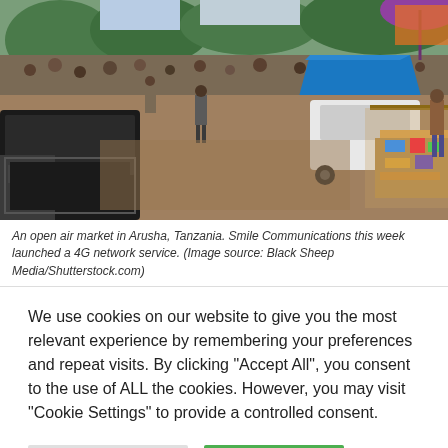[Figure (photo): An open air market in Arusha, Tanzania, showing vendors, stalls with goods, vehicles including a pickup truck, and many people in a busy outdoor market setting.]
An open air market in Arusha, Tanzania. Smile Communications this week launched a 4G network service. (Image source: Black Sheep Media/Shutterstock.com)
We use cookies on our website to give you the most relevant experience by remembering your preferences and repeat visits. By clicking "Accept All", you consent to the use of ALL the cookies. However, you may visit "Cookie Settings" to provide a controlled consent.